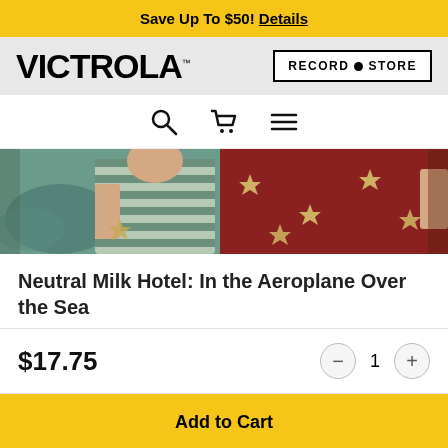Save Up To $50! Details
[Figure (logo): Victrola logo on grey background with Record Store button]
[Figure (illustration): Navigation icons: search magnifying glass, shopping cart, hamburger menu]
[Figure (photo): Album artwork for Neutral Milk Hotel: In the Aeroplane Over the Sea — painted illustration showing figures in striped and red star-covered garments]
Neutral Milk Hotel: In the Aeroplane Over the Sea
$17.75
1
Add to Cart